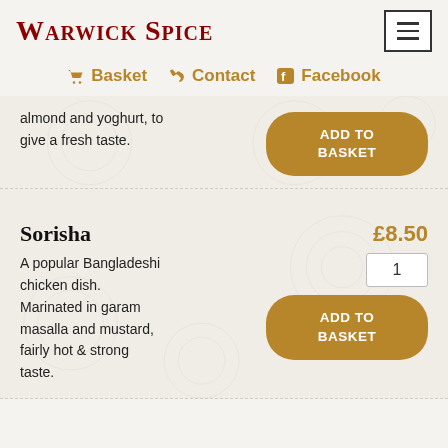Warwick Spice
Basket
Contact
Facebook
almond and yoghurt, to give a fresh taste.
Sorisha
£8.50
A popular Bangladeshi chicken dish. Marinated in garam masalla and mustard, fairly hot & strong taste.